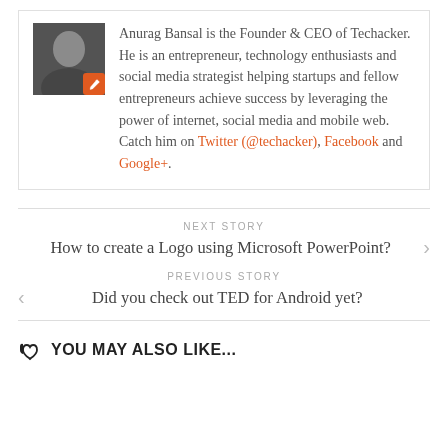[Figure (photo): Black and white photo of Anurag Bansal in a suit with an orange edit/pencil icon badge overlay in the bottom right corner]
Anurag Bansal is the Founder & CEO of Techacker. He is an entrepreneur, technology enthusiasts and social media strategist helping startups and fellow entrepreneurs achieve success by leveraging the power of internet, social media and mobile web. Catch him on Twitter (@techacker), Facebook and Google+.
NEXT STORY
How to create a Logo using Microsoft PowerPoint?
PREVIOUS STORY
Did you check out TED for Android yet?
YOU MAY ALSO LIKE...